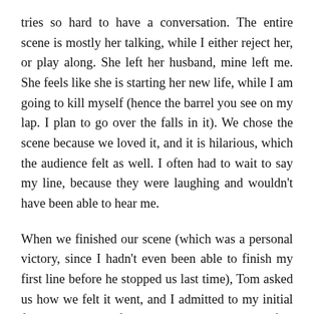tries so hard to have a conversation. The entire scene is mostly her talking, while I either reject her, or play along. She left her husband, mine left me. She feels like she is starting her new life, while I am going to kill myself (hence the barrel you see on my lap. I plan to go over the falls in it). We chose the scene because we loved it, and it is hilarious, which the audience felt as well. I often had to wait to say my line, because they were laughing and wouldn't have been able to hear me.
When we finished our scene (which was a personal victory, since I hadn't even been able to finish my first line before he stopped us last time), Tom asked us how we felt it went, and I admitted to my initial fears, but we both felt it went well. We waited a few seconds, that felt much longer, for Tom to tell us what we missed, what we needed to work on, how we could improve...only it didn't come. Usually, you do your scene once, Tom gives you some adjustments, then you do your scene again, with Tom